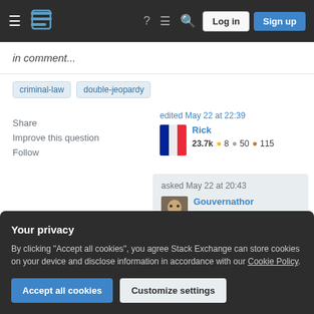Stack Exchange navigation bar with Log in and Sign up buttons
in comment...
criminal-law double-jeopardy
Share
Improve this question
Follow
edited May 22 at 22:39
Rick
23.7k ● 8 ● 50 ● 115
asked May 22 at 20:43
Gouvernathor
475 ● 2 ● 12
Your privacy
By clicking "Accept all cookies", you agree Stack Exchange can store cookies on your device and disclose information in accordance with our Cookie Policy.
Accept all cookies   Customize settings